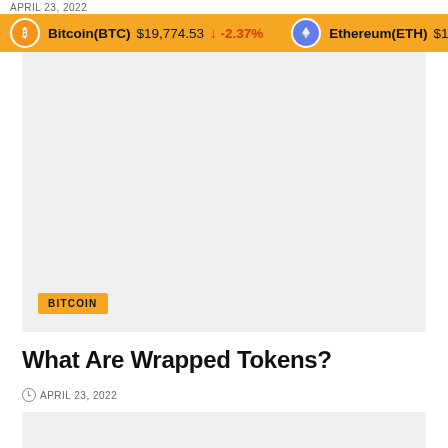APRIL 23, 2022
Bitcoin(BTC) $19,774.53 -2.37% Ethereum(ETH) $1,527
[Figure (photo): Main article image placeholder with BITCOIN category tag overlay]
What Are Wrapped Tokens?
APRIL 23, 2022
[Figure (photo): Secondary article image placeholder at bottom of page]